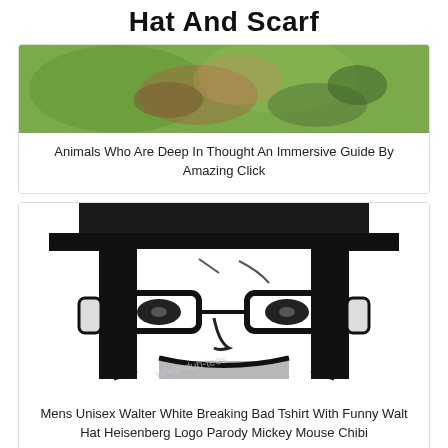Hat And Scarf
[Figure (photo): Blurry close-up photo of an animal's face (appears to be a dog or similar animal) against a green bokeh background]
Animals Who Are Deep In Thought An Immersive Guide By Amazing Click
[Figure (illustration): Black and white stencil illustration of Walter White / Heisenberg from Breaking Bad wearing a hat and glasses, with a watermark reading 'white-dub-tees']
Mens Unisex Walter White Breaking Bad Tshirt With Funny Walt Hat Heisenberg Logo Parody Mickey Mouse Chibi